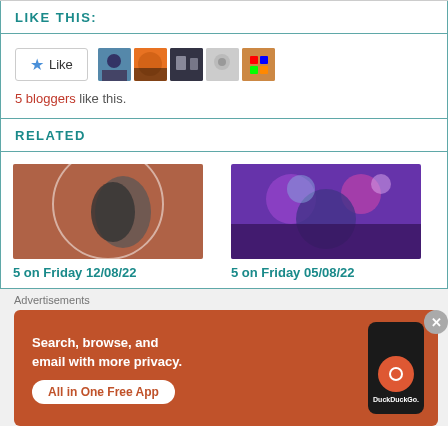LIKE THIS:
[Figure (other): Like button with star icon and 5 blogger avatar thumbnails]
5 bloggers like this.
RELATED
[Figure (photo): Black and white photo of a woman with orange background - 5 on Friday 12/08/22]
[Figure (photo): Colorful festive scene with purple tones - 5 on Friday 05/08/22]
5 on Friday 12/08/22
5 on Friday 05/08/22
Advertisements
[Figure (screenshot): DuckDuckGo advertisement: Search, browse, and email with more privacy. All in One Free App]